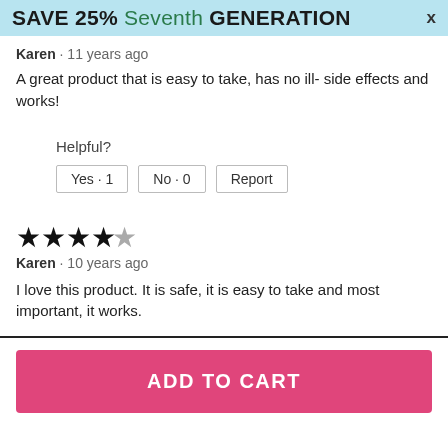SAVE 25% Seventh GENERATION X
Karen · 11 years ago
A great product that is easy to take, has no ill- side effects and works!
Helpful?
Yes · 1   No · 0   Report
[Figure (other): 4 filled stars and 1 empty star rating]
Karen · 10 years ago
I love this product. It is safe, it is easy to take and most important, it works.
ADD TO CART